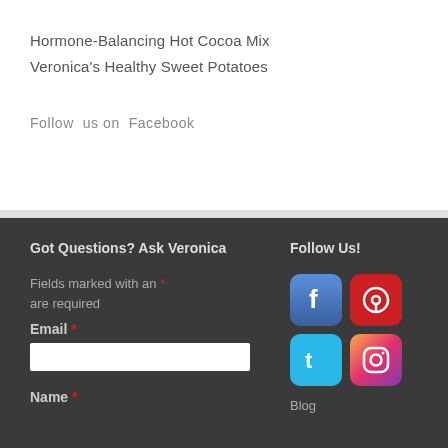Hormone-Balancing Hot Cocoa Mix
Veronica's Healthy Sweet Potatoes
Follow us on Facebook
Got Questions? Ask Veronica
Follow Us!
Fields marked with an * are required
Email *
Name *
[Figure (logo): Facebook, Pinterest, Twitter, and Instagram social media icons]
Blog